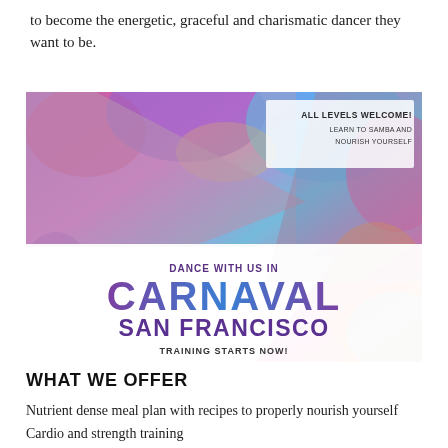to become the energetic, graceful and charismatic dancer they want to be.
[Figure (photo): Carnaval San Francisco promotional banner with colorful feathers and carnival dancers. Text reads: ALL LEVELS WELCOME! LEARN TO SAMBA AND NOURISH YOURSELF. DANCE WITH US IN CARNAVAL SAN FRANCISCO. TRAINING STARTS NOW!]
WHAT WE OFFER
Nutrient dense meal plan with recipes to properly nourish yourself
Cardio and strength training